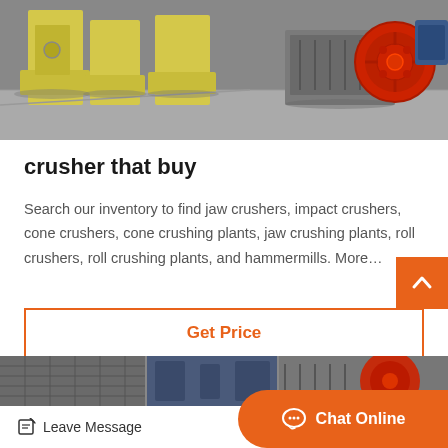[Figure (photo): Industrial jaw crushers and crushing equipment in a factory/warehouse setting. Yellow-painted machines with a large red flywheel visible on the right side.]
crusher that buy
Search our inventory to find jaw crushers, impact crushers, cone crushers, cone crushing plants, jaw crushing plants, roll crushers, roll crushing plants, and hammermills. More…
Get Price
[Figure (photo): Partial view of industrial crushing/mining equipment, bottom strip of page.]
Leave Message
Chat Online